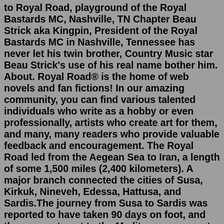to Royal Road, playground of the Royal Bastards MC, Nashville, TN Chapter Beau Strick aka Kingpin, President of the Royal Bastards MC in Nashville, Tennessee has never let his twin brother, Country Music star Beau Strick's use of his real name bother him. About. Royal Road® is the home of web novels and fan fictions! In our amazing community, you can find various talented individuals who write as a hobby or even professionally, artists who create art for them, and many, many readers who provide valuable feedback and encouragement. The Royal Road led from the Aegean Sea to Iran, a length of some 1,500 miles (2,400 kilometers). A major branch connected the cities of Susa, Kirkuk, Nineveh, Edessa, Hattusa, and Sardis.The journey from Susa to Sardis was reported to have taken 90 days on foot, and three more to get to the Mediterranean coast at Ephesus.The journey would have been faster on horseback, and carefully placed way ...Hello, I am Mila Karkaroff on Royal Road and this is the write-up of the launch of my first LitRPG story, The